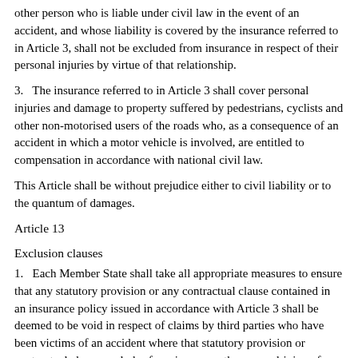other person who is liable under civil law in the event of an accident, and whose liability is covered by the insurance referred to in Article 3, shall not be excluded from insurance in respect of their personal injuries by virtue of that relationship.
3.   The insurance referred to in Article 3 shall cover personal injuries and damage to property suffered by pedestrians, cyclists and other non-motorised users of the roads who, as a consequence of an accident in which a motor vehicle is involved, are entitled to compensation in accordance with national civil law.
This Article shall be without prejudice either to civil liability or to the quantum of damages.
Article 13
Exclusion clauses
1.   Each Member State shall take all appropriate measures to ensure that any statutory provision or any contractual clause contained in an insurance policy issued in accordance with Article 3 shall be deemed to be void in respect of claims by third parties who have been victims of an accident where that statutory provision or contractual clause excludes from insurance the use or driving of vehicles by: